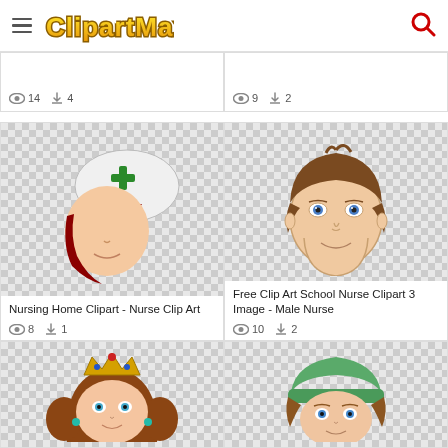ClipartMax
[Figure (screenshot): Top row partial cells showing view count 14 downloads 4 (left) and view count 9 downloads 2 (right)]
[Figure (illustration): Nursing Home Clipart - Nurse Clip Art: cartoon nurse head with red hair, white nurse cap with green cross]
Nursing Home Clipart - Nurse Clip Art
8 views, 1 download
[Figure (illustration): Free Clip Art School Nurse Clipart 3 Image - Male Nurse: cartoon smiling boy/man face with brown hair and blue eyes]
Free Clip Art School Nurse Clipart 3 Image - Male Nurse
10 views, 2 downloads
[Figure (illustration): Bottom left partial: cartoon princess character with crown and brown hair (possibly Princess Daisy)]
[Figure (illustration): Bottom right partial: cartoon nurse/doctor with green cap and brown hair]